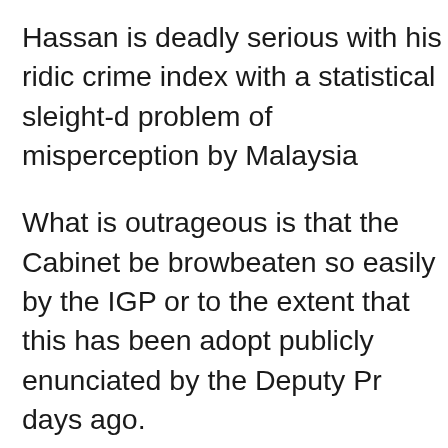Hassan is deadly serious with his ridic crime index with a statistical sleight-d problem of misperception by Malaysia
What is outrageous is that the Cabinet be browbeaten so easily by the IGP or to the extent that this has been adopt publicly enunciated by the Deputy Pr days ago.
Musa has claimed that figures show th with 772 crimes for every 100,000 res